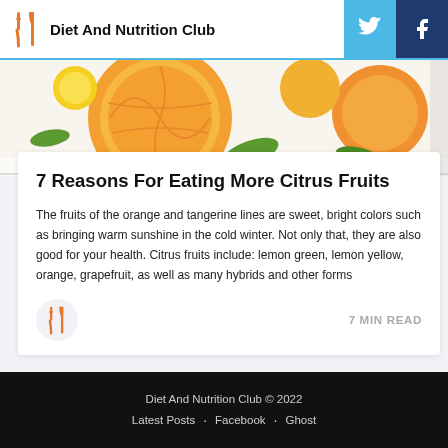Diet And Nutrition Club
[Figure (photo): Overhead photo of citrus fruits including oranges, tangerines, and lemons on a white background]
7 Reasons For Eating More Citrus Fruits
The fruits of the orange and tangerine lines are sweet, bright colors such as bringing warm sunshine in the cold winter. Not only that, they are also good for your health. Citrus fruits include: lemon green, lemon yellow, orange, grapefruit, as well as many hybrids and other forms
7 MIN READ
Diet And Nutrition Club © 2022
Latest Posts · Facebook · Ghost